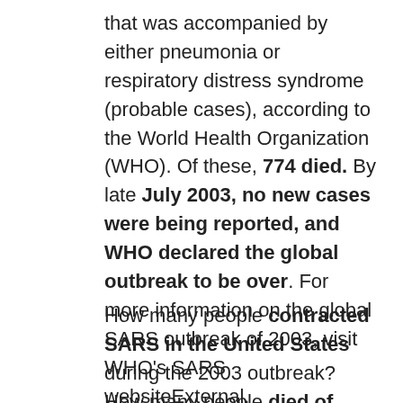that was accompanied by either pneumonia or respiratory distress syndrome (probable cases), according to the World Health Organization (WHO). Of these, 774 died. By late July 2003, no new cases were being reported, and WHO declared the global outbreak to be over. For more information on the global SARS outbreak of 2003, visit WHO's SARS websiteExternal.
How many people contracted SARS in the United States during the 2003 outbreak? How many people died of SARS in the United States? In the United States, only eight persons were laboratory-confirmed as SARS cases. There